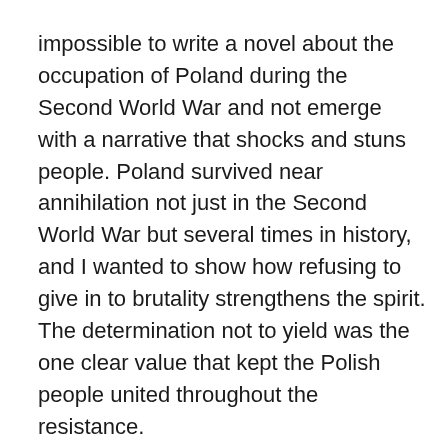impossible to write a novel about the occupation of Poland during the Second World War and not emerge with a narrative that shocks and stuns people. Poland survived near annihilation not just in the Second World War but several times in history, and I wanted to show how refusing to give in to brutality strengthens the spirit. The determination not to yield was the one clear value that kept the Polish people united throughout the resistance.
I never intentionally write to disturb people: there are plenty of authors who do write brilliantly about the darker side of human nature, but my work moves in another direction. What compels me is the human impulse toward dignity no matter how desperate the circumstances. I have learned a lot from film makers who have dramatised the Second World War. Studying powerful films such as Roman Polanski's The Pianist made me appreciate just